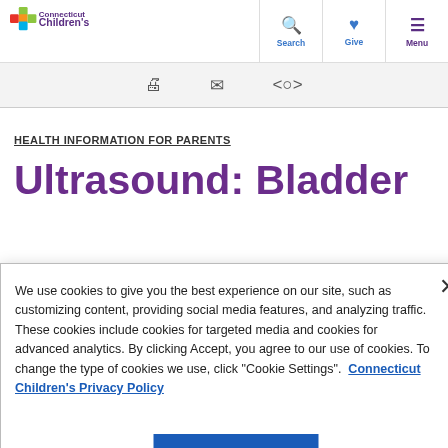Connecticut Children's — Search, Give, Menu navigation
[Figure (logo): Connecticut Children's logo with colorful cross and purple text]
HEALTH INFORMATION FOR PARENTS
Ultrasound: Bladder
We use cookies to give you the best experience on our site, such as customizing content, providing social media features, and analyzing traffic. These cookies include cookies for targeted media and cookies for advanced analytics. By clicking Accept, you agree to our use of cookies. To change the type of cookies we use, click "Cookie Settings".  Connecticut Children's Privacy Policy